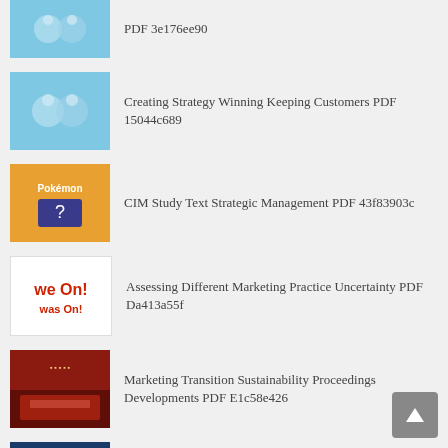PDF 3e176ee90
Creating Strategy Winning Keeping Customers PDF 15044c689
CIM Study Text Strategic Management PDF 43f83903c
Assessing Different Marketing Practice Uncertainty PDF Da413a55f
Marketing Transition Sustainability Proceedings Developments PDF E1c58e426
Growth Gears Market Based Framework Business PDF E239788b8
Competitive Marketing Strategy Europe Maintaining PDF 50144e5c1